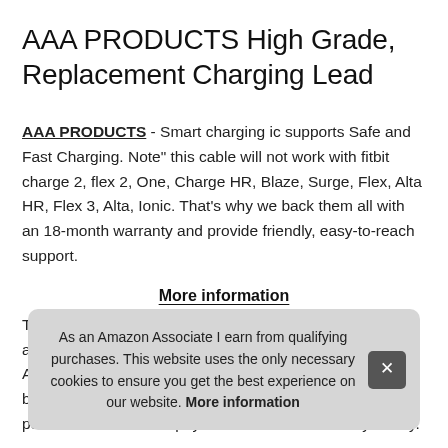AAA PRODUCTS High Grade, Replacement Charging Lead
AAA PRODUCTS - Smart charging ic supports Safe and Fast Charging. Note" this cable will not work with fitbit charge 2, flex 2, One, Charge HR, Blaze, Surge, Flex, Alta HR, Flex 3, Alta, Ionic. That's why we back them all with an 18-month warranty and provide friendly, easy-to-reach support.
More information
This [partially visible] acti[vation]... Aaa[...] bein[g...] power source. Please pay attention to this before you buy.
As an Amazon Associate I earn from qualifying purchases. This website uses the only necessary cookies to ensure you get the best experience on our website. More information